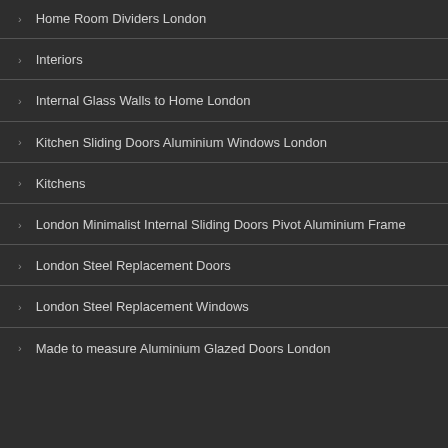Home Room Dividers London
Interiors
Internal Glass Walls to Home London
Kitchen Sliding Doors Aluminium Windows London
Kitchens
London Minimalist Internal Sliding Doors Pivot Aluminium Frame
London Steel Replacement Doors
London Steel Replacement Windows
Made to measure Aluminium Glazed Doors London